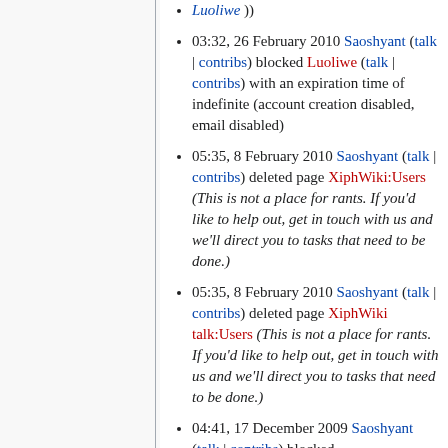03:32, 26 February 2010 Saoshyant (talk | contribs) blocked Luoliwe (talk | contribs) with an expiration time of indefinite (account creation disabled, email disabled)
05:35, 8 February 2010 Saoshyant (talk | contribs) deleted page XiphWiki:Users (This is not a place for rants. If you'd like to help out, get in touch with us and we'll direct you to tasks that need to be done.)
05:35, 8 February 2010 Saoshyant (talk | contribs) deleted page XiphWiki talk:Users (This is not a place for rants. If you'd like to help out, get in touch with us and we'll direct you to tasks that need to be done.)
04:41, 17 December 2009 Saoshyant (talk | contribs) blocked...